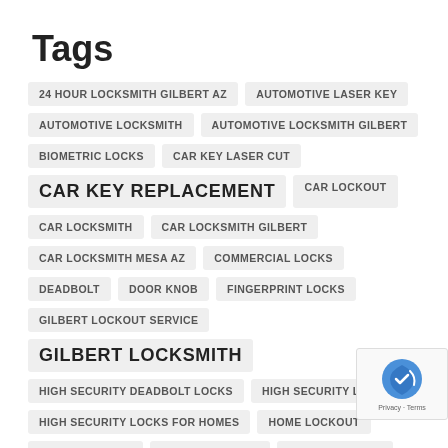Tags
24 HOUR LOCKSMITH GILBERT AZ
AUTOMOTIVE LASER KEY
AUTOMOTIVE LOCKSMITH
AUTOMOTIVE LOCKSMITH GILBERT
BIOMETRIC LOCKS
CAR KEY LASER CUT
CAR KEY REPLACEMENT
CAR LOCKOUT
CAR LOCKSMITH
CAR LOCKSMITH GILBERT
CAR LOCKSMITH MESA AZ
COMMERCIAL LOCKS
DEADBOLT
DOOR KNOB
FINGERPRINT LOCKS
GILBERT LOCKOUT SERVICE
GILBERT LOCKSMITH
HIGH SECURITY DEADBOLT LOCKS
HIGH SECURITY LOCKS
HIGH SECURITY LOCKS FOR HOMES
HOME LOCKOUT
HOME SECURITY
HOUSE LOCKOUT
KEYLESS LOCKS
KEY LOCKED IN CAR
KEYS
LEVER HANDLE
LOCAL LOCKSMITH
LOCKED KEYS IN A CAR
LOCKS